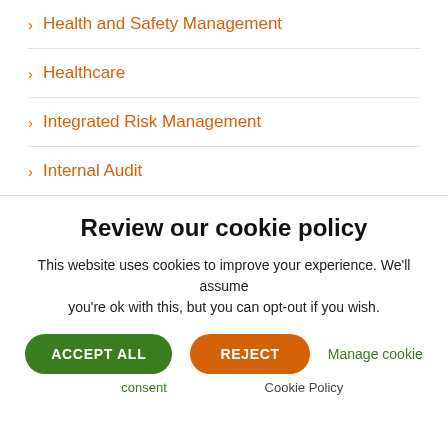> Health and Safety Management
> Healthcare
> Integrated Risk Management
> Internal Audit
Review our cookie policy
This website uses cookies to improve your experience. We'll assume you're ok with this, but you can opt-out if you wish.
ACCEPT ALL | REJECT | Manage cookie
consent | Cookie Policy